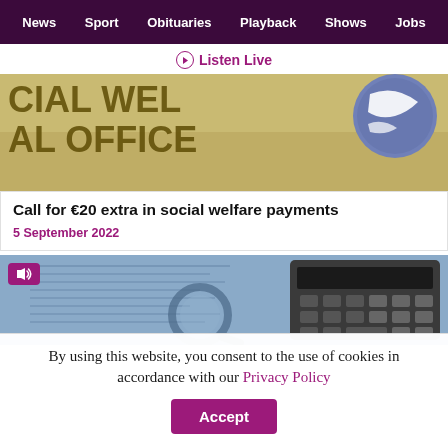News  Sport  Obituaries  Playback  Shows  Jobs
Listen Live
[Figure (photo): Social Welfare Office sign with partial text 'CIAL WEL...' and 'AL OFFICE' visible, with a circular logo on the right]
Call for €20 extra in social welfare payments
5 September 2022
[Figure (photo): Close-up of a calculator and magnifying glass on financial documents, with an audio/speaker badge in the top-left corner]
By using this website, you consent to the use of cookies in accordance with our Privacy Policy
Accept